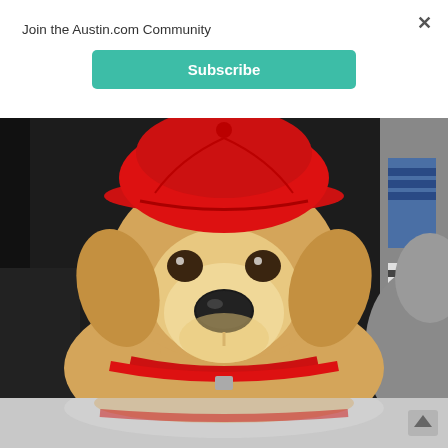Join the Austin.com Community
Subscribe
[Figure (photo): A yellow Labrador dog wearing a red baseball cap and red collar/harness, looking directly at camera. Another grey dog visible at right edge. People's legs and colorful socks visible in background. Dark floor.]
[Figure (photo): Partial bottom strip showing blurred continuation of image with a scroll-to-top arrow button at lower right.]